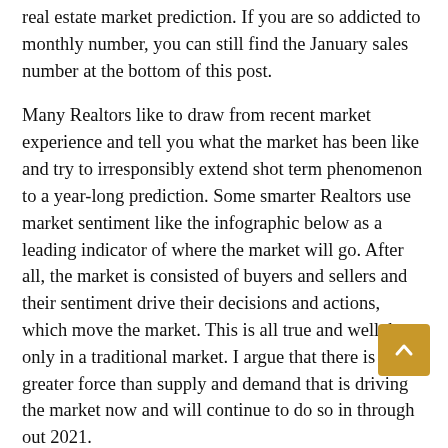real estate market prediction. If you are so addicted to monthly number, you can still find the January sales number at the bottom of this post.
Many Realtors like to draw from recent market experience and tell you what the market has been like and try to irresponsibly extend shot term phenomenon to a year-long prediction. Some smarter Realtors use market sentiment like the infographic below as a leading indicator of where the market will go. After all, the market is consisted of buyers and sellers and their sentiment drive their decisions and actions, which move the market. This is all true and well, but only in a traditional market. I argue that there is a greater force than supply and demand that is driving the market now and will continue to do so in through out 2021.
Rather than predicting the market with “up” or “down”, I think it’s more informative for my audience